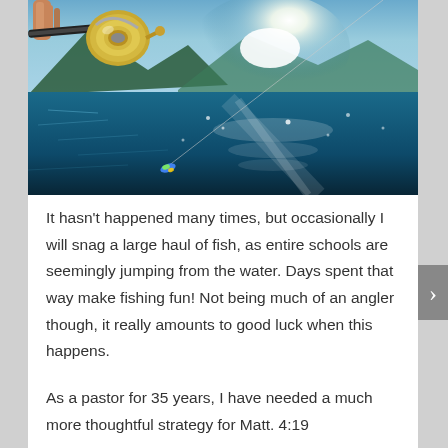[Figure (photo): Close-up photograph of a person holding a fishing rod with a spinning reel over a sunlit lake or fjord with mountains in the background. A fishing line is visible extending into the water with a colorful lure.]
It hasn't happened many times, but occasionally I will snag a large haul of fish, as entire schools are seemingly jumping from the water. Days spent that way make fishing fun! Not being much of an angler though, it really amounts to good luck when this happens.
As a pastor for 35 years, I have needed a much more thoughtful strategy for Matt. 4:19